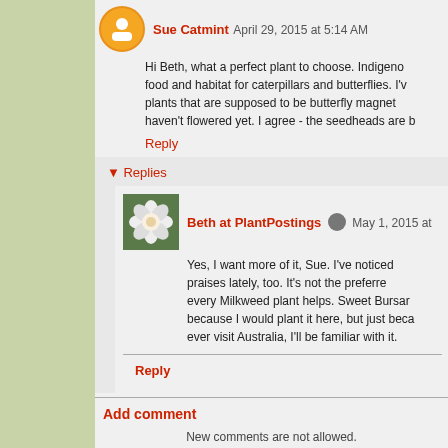Sue Catmint April 29, 2015 at 5:14 AM
Hi Beth, what a perfect plant to choose. Indigen... food and habitat for caterpillars and butterflies. I'... plants that are supposed to be butterfly magnet... haven't flowered yet. I agree - the seedheads are b...
Reply
Replies
Beth at PlantPostings May 1, 2015 at...
Yes, I want more of it, Sue. I've noticed... praises lately, too. It's not the preferre... every Milkweed plant helps. Sweet Bursar... because I would plant it here, but just beca... ever visit Australia, I'll be familiar with it.
Reply
Add comment
New comments are not allowed.